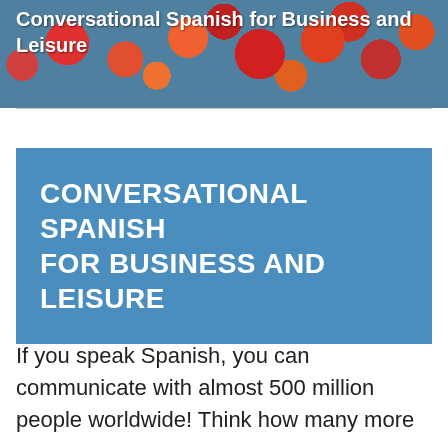Conversational Spanish for Business and Leisure
CONVERSATIONAL SPANISH FOR BUSINESS AND LEISURE
If you speak Spanish, you can communicate with almost 500 million people worldwide! Think how many more